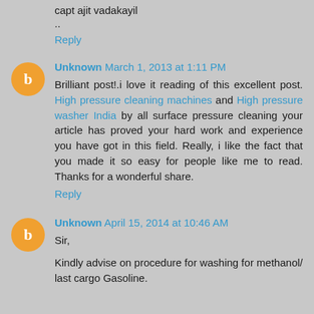capt ajit vadakayil
..
Reply
Unknown March 1, 2013 at 1:11 PM
Brilliant post!.i love it reading of this excellent post. High pressure cleaning machines and High pressure washer India by all surface pressure cleaning your article has proved your hard work and experience you have got in this field. Really, i like the fact that you made it so easy for people like me to read. Thanks for a wonderful share.
Reply
Unknown April 15, 2014 at 10:46 AM
Sir,
Kindly advise on procedure for washing for methanol/ last cargo Gasoline.